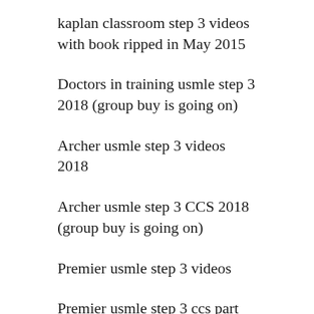kaplan classroom step 3 videos with book ripped in May 2015
Doctors in training usmle step 3 2018 (group buy is going on)
Archer usmle step 3 videos 2018
Archer usmle step 3 CCS 2018 (group buy is going on)
Premier usmle step 3 videos
Premier usmle step 3 ccs part
USMLE WORLD step 3 qbank ripped in October